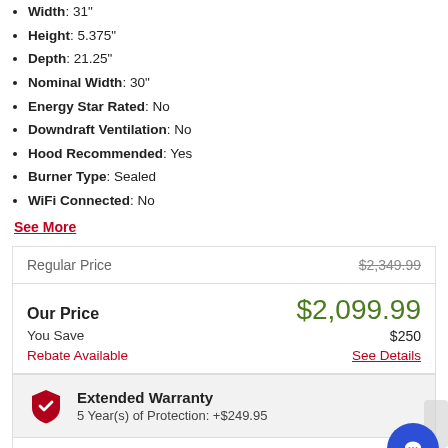Width: 31"
Height: 5.375"
Depth: 21.25"
Nominal Width: 30"
Energy Star Rated: No
Downdraft Ventilation: No
Hood Recommended: Yes
Burner Type: Sealed
WiFi Connected: No
See More
| Label | Value |
| --- | --- |
| Regular Price | $2,349.99 |
| Our Price | $2,099.99 |
| You Save | $250 |
| Rebate Available | See Details |
Extended Warranty
5 Year(s) of Protection: +$249.95
Enter Zip Code *